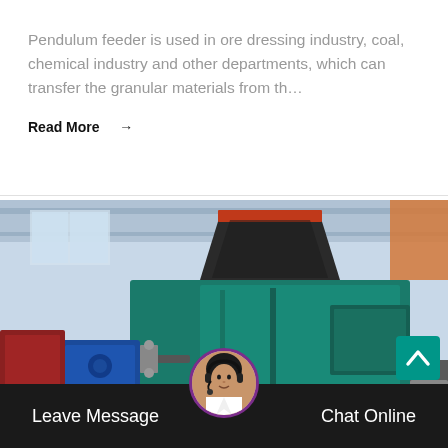Pendulum feeder is used in ore dressing industry, coal, chemical industry and other departments, which can transfer the granular materials from th…
Read More →
[Figure (photo): Industrial green-colored briquette machine or pendulum feeder equipment inside a factory/warehouse setting. The machine has a large hopper on top and main body with a blue motor attached on the left side.]
Leave Message
Chat Online